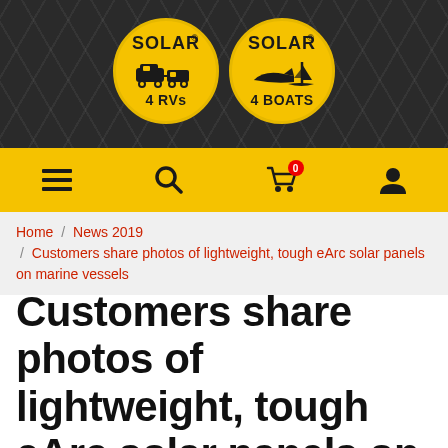[Figure (logo): Solar 4 RVs and Solar 4 Boats logos — two gold circles on a dark solar-panel-textured background header]
[Figure (screenshot): Navigation bar with hamburger menu, search, shopping cart (badge: 0), and user account icons on a yellow/gold background]
Home / News 2019 / Customers share photos of lightweight, tough eArc solar panels on marine vessels
Customers share photos of lightweight, tough eArc solar panels on marine vessels